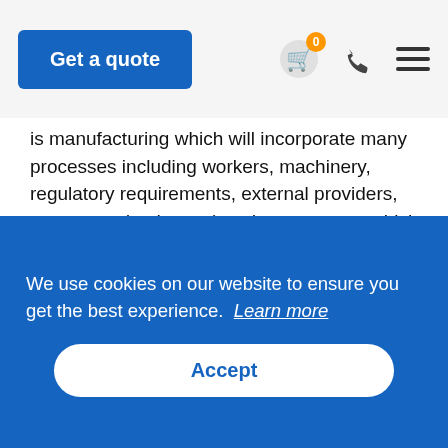Get a quote | [cart icon with 0 badge] [phone icon] [menu icon]
is manufacturing which will incorporate many processes including workers, machinery, regulatory requirements, external providers, customers (end users) and competence which will be audited.
4.4 OH&S MANAGEMENT SYSTEM
From the information gathered in 4.1, 4.2 and 4.3 the standard requires the design and integration of processes within the management system to satisfy the
We use cookies on our website to ensure you get the best experience.  Learn more
Accept